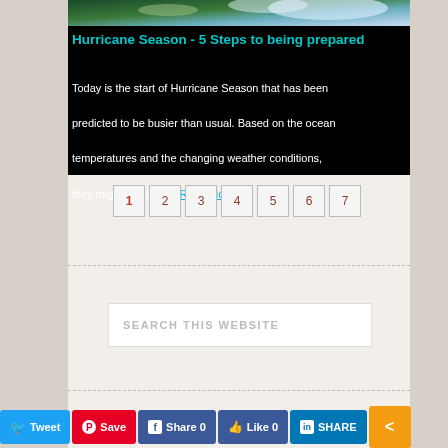[Figure (photo): Satellite/aerial image of hurricane or earth from space with green land and blue ocean/clouds]
Hurricane Season - 5 Steps to being prepared
Today is the start of Hurricane Season that has been predicted to be busier than usual. Based on the ocean temperatures and the changing weather conditions, they might just be ...  Read More
1 2 3 4 5 6 7
SEARCH THIS WEBSITE
Tweet  Save  Share 0  Like 0  SHARE  <